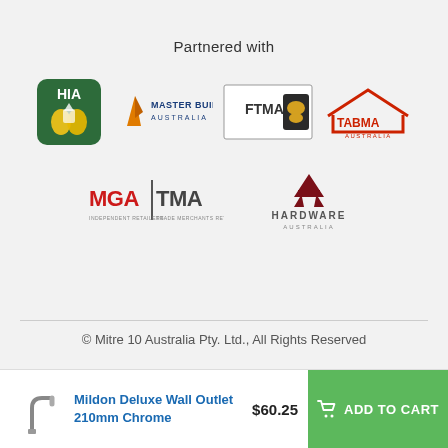Partnered with
[Figure (logo): HIA logo - green square with hands and text HIA]
[Figure (logo): Master Builders Australia logo - orange/navy]
[Figure (logo): FTMA logo with kangaroo emblem]
[Figure (logo): TABMA Australia logo - red house outline]
[Figure (logo): MGA|TMA logo]
[Figure (logo): Hardware Australia logo - dark red A emblem]
© Mitre 10 Australia Pty. Ltd., All Rights Reserved
[Figure (photo): Mildon Deluxe Wall Outlet 210mm Chrome product thumbnail]
Mildon Deluxe Wall Outlet 210mm Chrome
$60.25
ADD TO CART